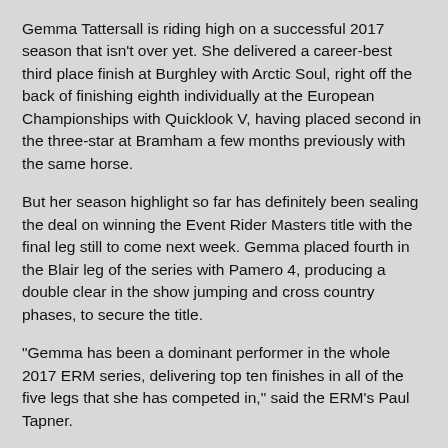Gemma Tattersall is riding high on a successful 2017 season that isn't over yet. She delivered a career-best third place finish at Burghley with Arctic Soul, right off the back of finishing eighth individually at the European Championships with Quicklook V, having placed second in the three-star at Bramham a few months previously with the same horse.
But her season highlight so far has definitely been sealing the deal on winning the Event Rider Masters title with the final leg still to come next week. Gemma placed fourth in the Blair leg of the series with Pamero 4, producing a double clear in the show jumping and cross country phases, to secure the title.
"Gemma has been a dominant performer in the whole 2017 ERM series, delivering top ten finishes in all of the five legs that she has competed in," said the ERM's Paul Tapner.
"She has ridden four different horses across the series this year, as well as winning Leg 1 with Quicklook V and Leg 5 with Arctic Soul. At Blair, Gemma demonstrated that she now cannot be caught in the series with 108 points, and we wish her many congratulations."